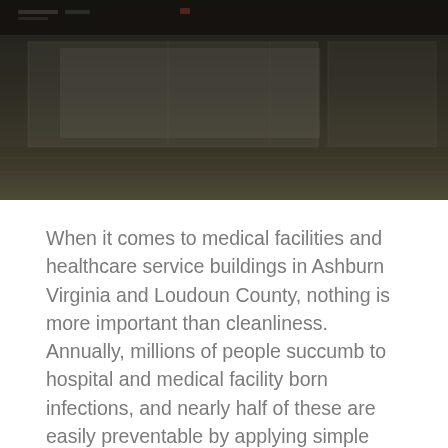[Figure (photo): Interior photo of a medical facility hallway or corridor, dark toned with reflective flooring and corridor panels visible. Heavy shadow overlay gives a dim institutional atmosphere.]
When it comes to medical facilities and healthcare service buildings in Ashburn Virginia and Loudoun County, nothing is more important than cleanliness. Annually, millions of people succumb to hospital and medical facility born infections, and nearly half of these are easily preventable by applying simple basic attention to cleanliness.
It is imperative the company you select understands how these infections spread and more importantly, the rigor and attention to cleaning detail that is required. A properly maintained facility tells patients that they are in the